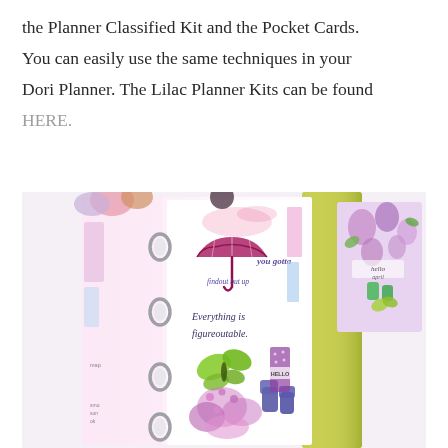the Planner Classified Kit and the Pocket Cards. You can easily use the same techniques in your Dori Planner. The Lilac Planner Kits can be found HERE.
[Figure (photo): A decorative planner/binder open on a white surface, showing colorful spring-themed inserts with watercolor illustrations of umbrellas, butterflies, lilac flowers, and rain boots. Text on the pages reads 'you gotta' and 'Everything is figureoutable'. A gold-spined planner and a floral pocket card with 'hello april' are visible to the right. The planner has silver ring binders on the left side.]